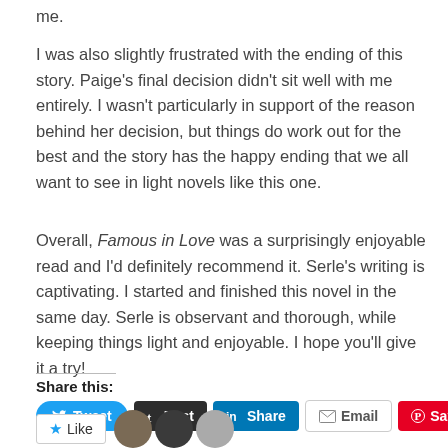me.
I was also slightly frustrated with the ending of this story. Paige’s final decision didn’t sit well with me entirely. I wasn’t particularly in support of the reason behind her decision, but things do work out for the best and the story has the happy ending that we all want to see in light novels like this one.
Overall, Famous in Love was a surprisingly enjoyable read and I’d definitely recommend it. Serle’s writing is captivating. I started and finished this novel in the same day. Serle is observant and thorough, while keeping things light and enjoyable. I hope you’ll give it a try!
Share this:
Tweet | Post | Share | Email | Save
[Figure (other): Social share buttons: Tweet (Twitter/blue), Post (Tumblr/dark), Share (LinkedIn/blue), Email (grey outline), Save (Pinterest/red). Below: a Like button with star icon and three circular avatar images.]